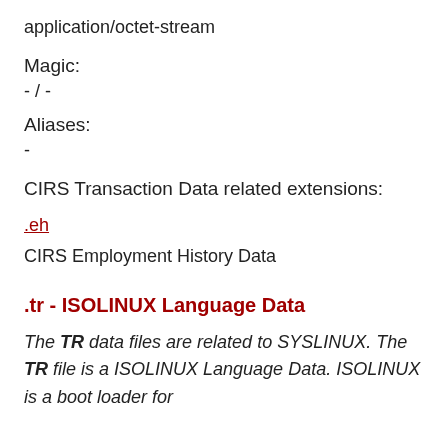application/octet-stream
Magic:
- / -
Aliases:
-
CIRS Transaction Data related extensions:
.eh
CIRS Employment History Data
.tr - ISOLINUX Language Data
The TR data files are related to SYSLINUX. The TR file is a ISOLINUX Language Data. ISOLINUX is a boot loader for